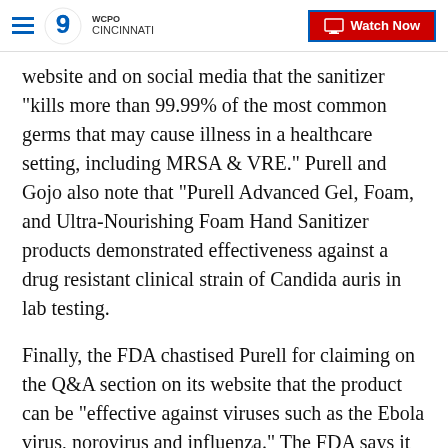WCPO 9 Cincinnati — Watch Now
website and on social media that the sanitizer "kills more than 99.99% of the most common germs that may cause illness in a healthcare setting, including MRSA & VRE." Purell and Gojo also note that "Purell Advanced Gel, Foam, and Ultra-Nourishing Foam Hand Sanitizer products demonstrated effectiveness against a drug resistant clinical strain of Candida auris in lab testing.
Finally, the FDA chastised Purell for claiming on the Q&A section on its website that the product can be "effective against viruses such as the Ebola virus, norovirus and influenza." The FDA says it is not aware of any hand sanitizers that have been tested against